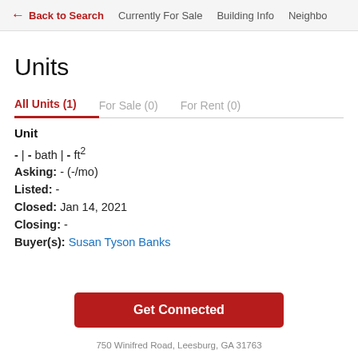← Back to Search   Currently For Sale   Building Info   Neighbo
Units
All Units (1)   For Sale (0)   For Rent (0)
Unit
- | - bath | - ft²
Asking: - (-/mo)
Listed: -
Closed: Jan 14, 2021
Closing: -
Buyer(s): Susan Tyson Banks
Get Connected
750 Winifred Road, Leesburg, GA 31763